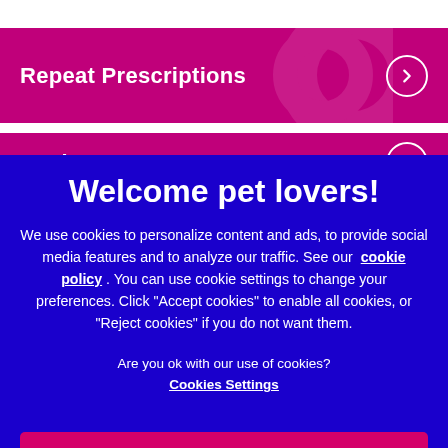Repeat Prescriptions
Register Your Pet...
Welcome pet lovers!
We use cookies to personalize content and ads, to provide social media features and to analyze our traffic. See our cookie policy. You can use cookie settings to change your preferences. Click "Accept cookies" to enable all cookies, or "Reject cookies" if you do not want them.
Are you ok with our use of cookies?
Cookies Settings